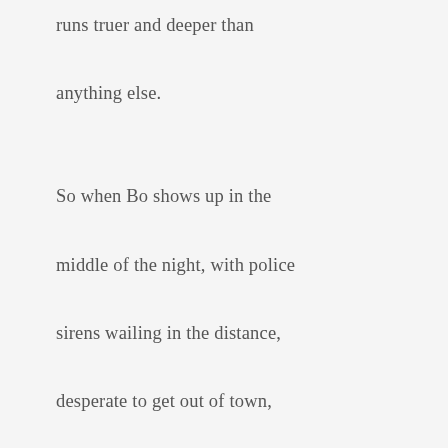runs truer and deeper than anything else.

So when Bo shows up in the middle of the night, with police sirens wailing in the distance, desperate to get out of town, Agnes doesn't hesitate to take off with her. But running away and not getting caught will require stealing a car, tracking down Bo's dad, staying ahead of the authorities, and -- worst of